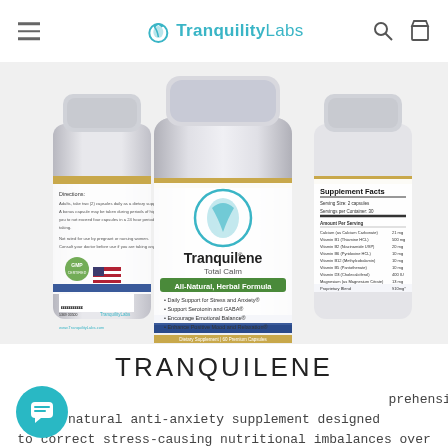TranquilityLabs
[Figure (photo): Three bottles of Tranquilene Total Calm supplement by Tranquility Labs. Front bottle shows label with All-Natural Herbal Formula, Daily Support for Stress and Anxiety, Support Serotonin and GABA, Encourage Emotional Balance, Enhance Positive Mood and Relaxation. Back-left bottle shows dosage directions and barcode. Back-right bottle shows Supplement Facts panel. Dietary Supplement, 60 Premium Capsules.]
TRANQUILENE
prehensive natural anti-anxiety supplement designed to correct stress-causing nutritional imbalances over time